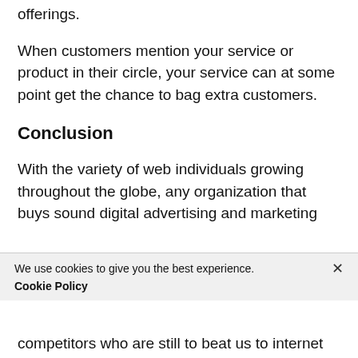offerings.
When customers mention your service or product in their circle, your service can at some point get the chance to bag extra customers.
Conclusion
With the variety of web individuals growing throughout the globe, any organization that buys sound digital advertising and marketing
We use cookies to give you the best experience.
Cookie Policy
competitors who are still to beat us to internet